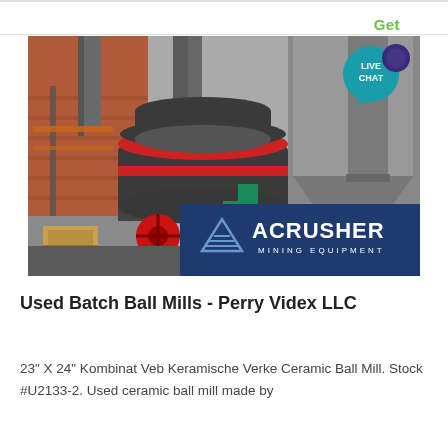Get Price
[Figure (photo): Industrial ball mill equipment at a facility, showing a large cylindrical grinding mill with red accent rings, surrounded by metal ductwork, silos, and conveyor structures. An ACRUSHER Mining Equipment logo overlay appears in the bottom portion of the image. A 'LIVE CHAT' bubble is visible in the upper right corner.]
Used Batch Ball Mills - Perry Videx LLC
23" X 24" Kombinat Veb Keramische Verke Ceramic Ball Mill. Stock #U2133-2. Used ceramic ball mill made by